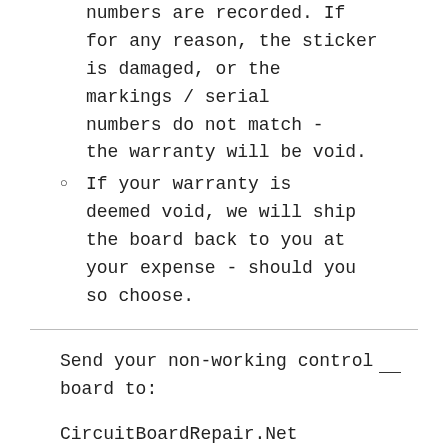numbers are recorded. If for any reason, the sticker is damaged, or the markings / serial numbers do not match - the warranty will be void.
If your warranty is deemed void, we will ship the board back to you at your expense - should you so choose.
Send your non-working control board to:
CircuitBoardRepair.Net
1950 S. Stoughton Rd.
Madison, WI  53716